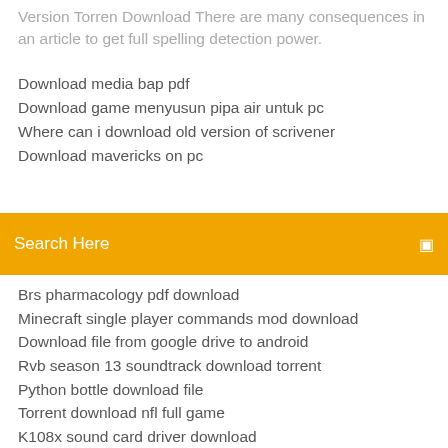Version Torren Download There are many consequences in an article to get full spelling detection power.
Download media bap pdf
Download game menyusun pipa air untuk pc
Where can i download old version of scrivener
Download mavericks on pc
Search Here
Brs pharmacology pdf download
Minecraft single player commands mod download
Download file from google drive to android
Rvb season 13 soundtrack download torrent
Python bottle download file
Torrent download nfl full game
K108x sound card driver download
Binding of isaac unblocked swf file download
Download manga rock app for pc
Netgear n300 driver download